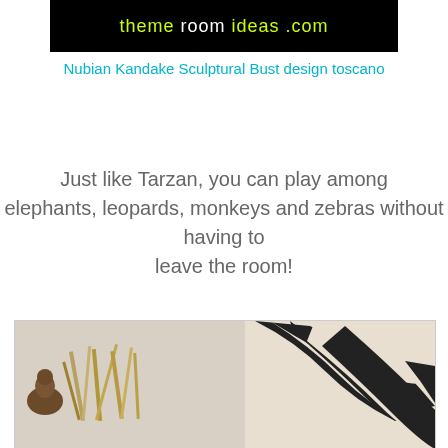[Figure (photo): Website banner image showing themeroomideas.com with black background and yellow/white text]
Nubian Kandake Sculptural Bust design toscano
Just like Tarzan, you can play among elephants, leopards, monkeys and zebras without having to leave the room!
[Figure (photo): Safari-themed room decor items including what appears to be animal figurines and a zebra-striped decorative piece]